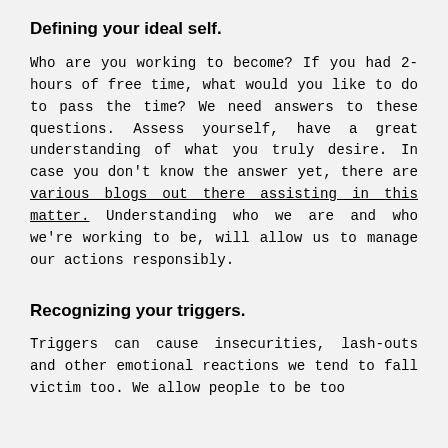Defining your ideal self.
Who are you working to become? If you had 2-hours of free time, what would you like to do to pass the time? We need answers to these questions. Assess yourself, have a great understanding of what you truly desire. In case you don't know the answer yet, there are various blogs out there assisting in this matter. Understanding who we are and who we're working to be, will allow us to manage our actions responsibly.
Recognizing your triggers.
Triggers can cause insecurities, lash-outs and other emotional reactions we tend to fall victim too. We allow people to be too